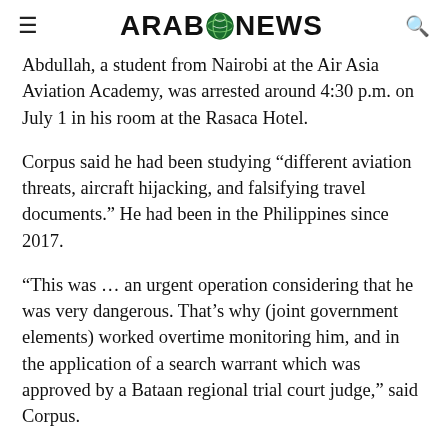ARAB NEWS
Abdullah, a student from Nairobi at the Air Asia Aviation Academy, was arrested around 4:30 p.m. on July 1 in his room at the Rasaca Hotel.
Corpus said he had been studying “different aviation threats, aircraft hijacking, and falsifying travel documents.” He had been in the Philippines since 2017.
“This was … an urgent operation considering that he was very dangerous. That’s why (joint government elements) worked overtime monitoring him, and in the application of a search warrant which was approved by a Bataan regional trial court judge,” said Corpus.
A team comprising multiple departments of the